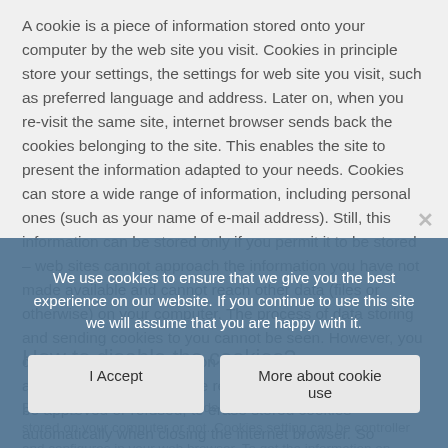A cookie is a piece of information stored onto your computer by the web site you visit. Cookies in principle store your settings, the settings for web site you visit, such as preferred language and address. Later on, when you re-visit the same site, internet browser sends back the cookies belonging to the site. This enables the site to present the information adapted to your needs. Cookies can store a wide range of information, including personal ones (such as your name of e-mail address). Still, this information can be stored only if you permit it to be stored – web sites cannot approach the information you have not made available and cannot reach other data (files or otherwise) on your computer. The process of data storing and sending cookies to you cannot be seen. However, you can change your settings on internet browser so as to be able to choose whether the request for storing cookies will be approved or refused, to erase stored cookies automatically when closing the internet browser. So...
How to disable the cookies?
Disabling the cookies you decide whether to let the cookies be stored on your computer or not. Cookies setting can be controller and configures in your web browser. To get the information on cookies settings, select the browser you use...
We use cookies to ensure that we give you the best experience on our website. If you continue to use this site we will assume that you are happy with it.